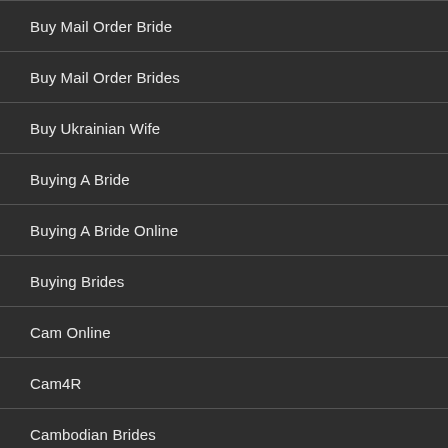Buy Mail Order Bride
Buy Mail Order Brides
Buy Ukrainian Wife
Buying A Bride
Buying A Bride Online
Buying Brides
Cam Online
Cam4R
Cambodian Brides
Camcrawler
Camcrush Mobile